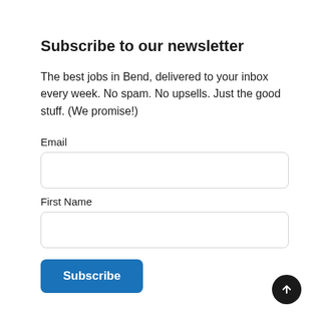Subscribe to our newsletter
The best jobs in Bend, delivered to your inbox every week. No spam. No upsells. Just the good stuff. (We promise!)
Email
First Name
Subscribe